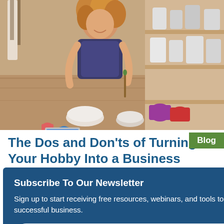[Figure (photo): Woman working in a pottery/art studio, smiling, surrounded by ceramic bowls, paint containers, and art supplies on wooden shelves. Viewed from above angle.]
The Dos and Don'ts of Turning Your Hobby Into a Business
Blog
Subscribe To Our Newsletter
Sign up to start receiving free resources, webinars, and tools to help you start and grow a successful business.
email address
SUBMIT
well-suited for those living in rural America.